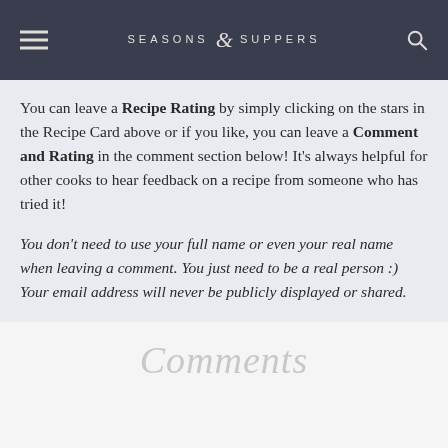SEASONS & SUPPERS
You can leave a Recipe Rating by simply clicking on the stars in the Recipe Card above or if you like, you can leave a Comment and Rating in the comment section below! It's always helpful for other cooks to hear feedback on a recipe from someone who has tried it!
You don't need to use your full name or even your real name when leaving a comment. You just need to be a real person :) Your email address will never be publicly displayed or shared.
Comments